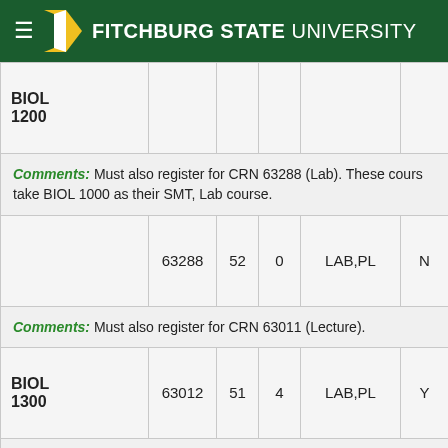FITCHBURG STATE UNIVERSITY
| Course | CRN | Cap | Cr | Type | Open |
| --- | --- | --- | --- | --- | --- |
| BIOL 1200 |  |  |  |  |  |
| Comments: Must also register for CRN 63288 (Lab). These courses take BIOL 1000 as their SMT, Lab course. |  |  |  |  |  |
|  | 63288 | 52 | 0 | LAB,PL | N |
| Comments: Must also register for CRN 63011 (Lecture). |  |  |  |  |  |
| BIOL 1300 | 63012 | 51 | 4 | LAB,PL | Y |
| Comments: Must also register for CRN 63365 (Lab). These courses take BIOL 1000 as their SMT, Lab course. |  |  |  |  |  |
|  | 63365 | 52 | 0 | LAB,PL | N |